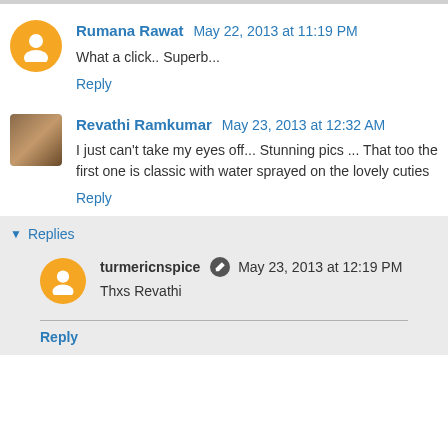Rumana Rawat May 22, 2013 at 11:19 PM
What a click.. Superb...
Reply
Revathi Ramkumar May 23, 2013 at 12:32 AM
I just can't take my eyes off... Stunning pics ... That too the first one is classic with water sprayed on the lovely cuties
Reply
Replies
turmericnspice May 23, 2013 at 12:19 PM
Thxs Revathi
Reply